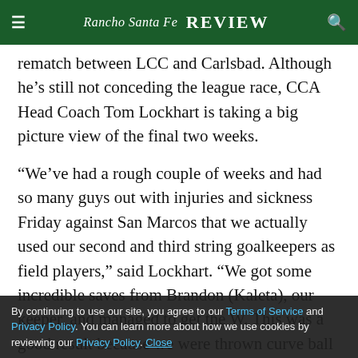Rancho Santa Fe Review
rematch between LCC and Carlsbad. Although he’s still not conceding the league race, CCA Head Coach Tom Lockhart is taking a big picture view of the final two weeks.
“We’ve had a rough couple of weeks and had so many guys out with injuries and sickness Friday against San Marcos that we actually used our second and third string goalkeepers as field players,” said Lockhart. “We got some incredible saves from Brandon (Kaleta), our keeper, and managed to get the W. This was a good result because we were thrown curve ball after curve ball but found a way to win.
“We still want to fight back and finish as high as we can in the league, but honestly, these next couple of weeks it
By continuing to use our site, you agree to our Terms of Service and Privacy Policy. You can learn more about how we use cookies by reviewing our Privacy Policy. Close